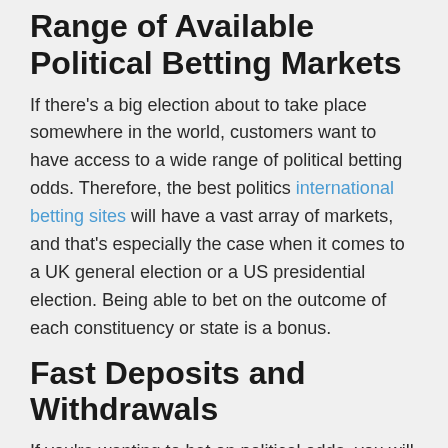Range of Available Political Betting Markets
If there's a big election about to take place somewhere in the world, customers want to have access to a wide range of political betting odds. Therefore, the best politics international betting sites will have a vast array of markets, and that's especially the case when it comes to a UK general election or a US presidential election. Being able to bet on the outcome of each constituency or state is a bonus.
Fast Deposits and Withdrawals
If you're wanting to bet on political odds, you will need to have a funded balance with your bookmaker. To do this, you need to make a